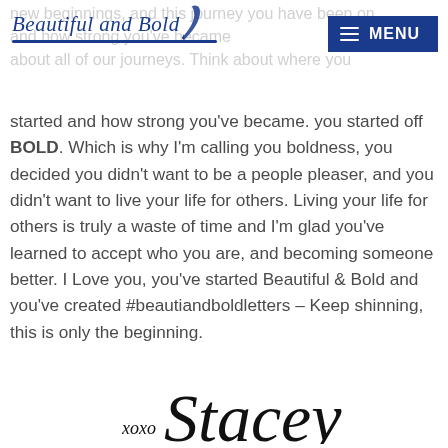Beautiful and Bold — MENU
started and how strong you've became. you started off BOLD. Which is why I'm calling you boldness, you decided you didn't want to be a people pleaser, and you didn't want to live your life for others. Living your life for others is truly a waste of time and I'm glad you've learned to accept who you are, and becoming someone better. I Love you, you've started Beautiful & Bold and you've created #beautiandboldletters – Keep shinning, this is only the beginning.
[Figure (illustration): Handwritten signature reading 'Stacey' with 'xoxo' to the left, in black cursive script]